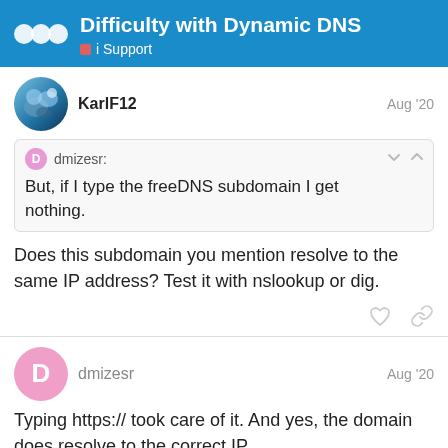Difficulty with Dynamic DNS — i Support
KarlF12 — Aug '20
dmizesr: But, if I type the freeDNS subdomain I get nothing.
Does this subdomain you mention resolve to the same IP address? Test it with nslookup or dig.
dmizesr — Aug '20
Typing https:// took care of it. And yes, the domain does resolve to the correct IP.
I set up a cert when I was installing it but
1 / 5